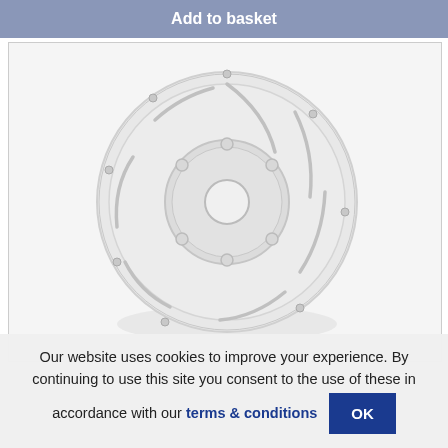Add to basket
[Figure (photo): A brake disc rotor shown on a white/light gray background. The disc is a large circular metal rotor with a smaller hub circle in the center, mounting holes around the hub, and curved slots/grooves on the braking surface. The rotor is silver/gray and appears to be a high-performance automotive brake disc.]
Our website uses cookies to improve your experience. By continuing to use this site you consent to the use of these in accordance with our terms & conditions OK